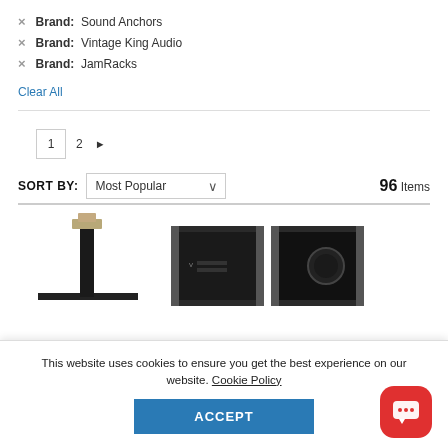× Brand: Sound Anchors
× Brand: Vintage King Audio
× Brand: JamRacks
Clear All
1  2  ▶
SORT BY: Most Popular   96 Items
[Figure (photo): Product image of a studio monitor stand (Sound Anchors style), black T-shaped stand with small top platform]
[Figure (photo): Two black rack-mount audio equipment units side by side]
This website uses cookies to ensure you get the best experience on our website. Cookie Policy
ACCEPT